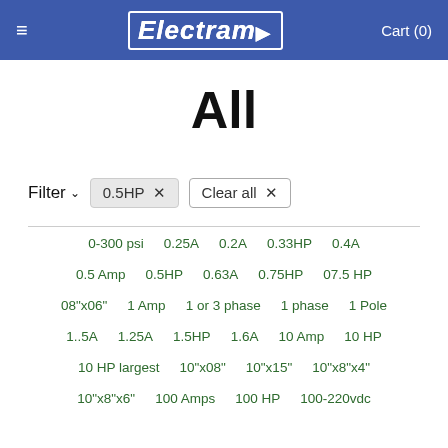Electram  Cart (0)
All
Filter  0.5HP ×  Clear all ×
0-300 psi
0.25A
0.2A
0.33HP
0.4A
0.5 Amp
0.5HP
0.63A
0.75HP
07.5 HP
08"x06"
1 Amp
1 or 3 phase
1 phase
1 Pole
1..5A
1.25A
1.5HP
1.6A
10 Amp
10 HP
10 HP largest
10"x08"
10"x15"
10"x8"x4"
10"x8"x6"
100 Amps
100 HP
100-220vdc